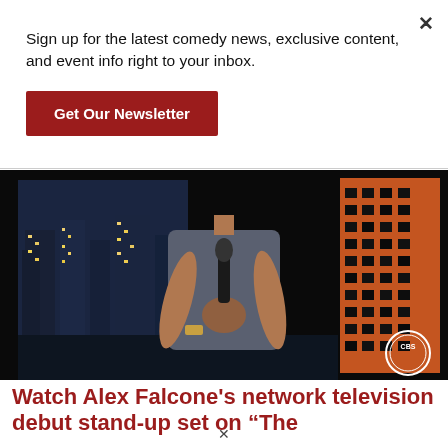Sign up for the latest comedy news, exclusive content, and event info right to your inbox.
Get Our Newsletter
[Figure (photo): A man in a grey button-up shirt stands holding a microphone on what appears to be a late-night TV set stage, with a city skyline backdrop at night and a CBS logo visible in the lower right.]
Watch Alex Falcone's network television debut stand-up set on “The